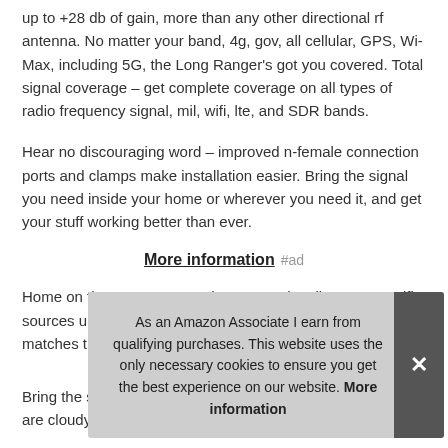up to +28 db of gain, more than any other directional rf antenna. No matter your band, 4g, gov, all cellular, GPS, Wi-Max, including 5G, the Long Ranger's got you covered. Total signal coverage – get complete coverage on all types of radio frequency signal, mil, wifi, lte, and SDR bands.
Hear no discouraging word – improved n-female connection ports and clamps make installation easier. Bring the signal you need inside your home or wherever you need it, and get your stuff working better than ever.
More information #ad
Home on the range, or anywhere – reach cell towers or wifi sou... mat...
Brin... are cloudy – the long ranger is weatherproof, with a single
As an Amazon Associate I earn from qualifying purchases. This website uses the only necessary cookies to ensure you get the best experience on our website. More information